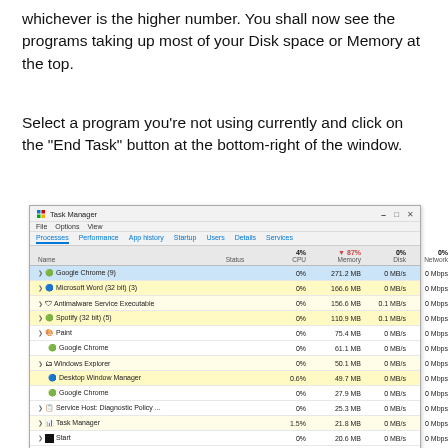whichever is the higher number. You shall now see the programs taking up most of your Disk space or Memory at the top.
Select a program you're not using currently and click on the "End Task" button at the bottom-right of the window.
[Figure (screenshot): Windows Task Manager screenshot showing processes sorted by memory usage. Columns: Name, Status, CPU (4%), Memory (87%), Disk (0%), Network (0%). Processes listed include Google Chrome (9), Microsoft Word (32 bit) (3), Antimalware Service Executable, Spotify (32 bit) (5), Paint, Google Chrome, Windows Explorer, Desktop Window Manager, Google Chrome, Service Host: Diagnostic Policy, Task Manager, Start, Microsoft Windows Search Inde..., Google Chrome. End Task button visible at bottom right.]